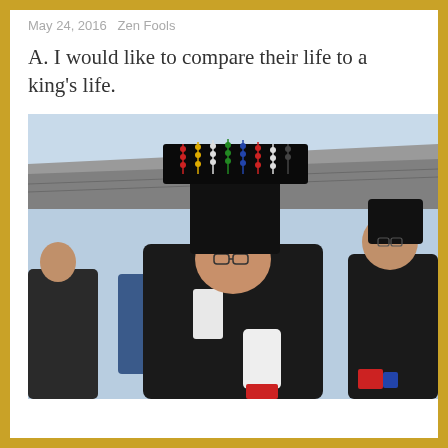May 24, 2016   Zen Fools
A. I would like to compare their life to a king’s life.
[Figure (photo): A man dressed in traditional Korean ceremonial attire, wearing an elaborate black crown/headpiece adorned with colorful beaded strands, holding a white ceremonial tablet. Other similarly dressed men are visible in the background, with a traditional Korean building and clear sky behind them.]